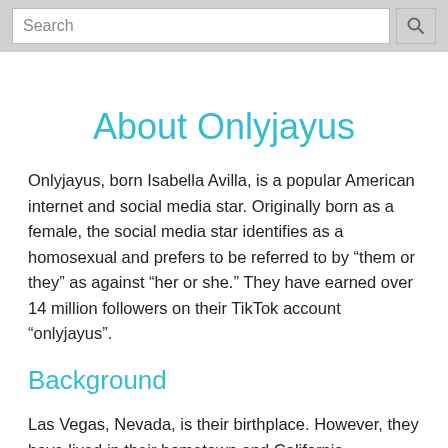Search
About Onlyjayus
Onlyjayus, born Isabella Avilla, is a popular American internet and social media star. Originally born as a female, the social media star identifies as a homosexual and prefers to be referred to by “them or they” as against “her or she.” They have earned over 14 million followers on their TikTok account “onlyjayus”.
Background
Las Vegas, Nevada, is their birthplace. However, they have lived in their hometown and California.
Career Highlights